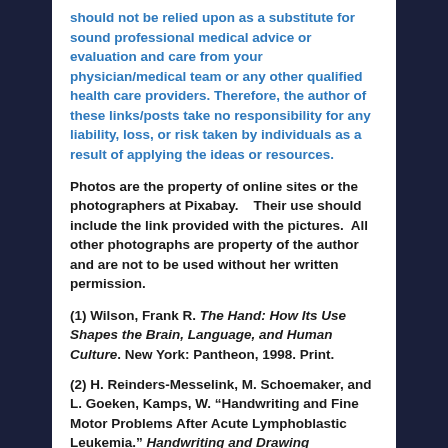should not be relied upon as a substitute for sound professional medical advice or evaluation and care from your physician/medical team or any other qualified health care providers. Therefore, the author of these links/posts take no responsibility for any liability, loss, or risk taken by individuals as a result of applying the ideas or resources.
Photos are the property of online sites or the photographers at Pixabay.    Their use should include the link provided with the pictures.  All other photographs are property of the author and are not to be used without her written permission.
(1) Wilson, Frank R. The Hand: How Its Use Shapes the Brain, Language, and Human Culture. New York: Pantheon, 1998. Print.
(2) H. Reinders-Messelink, M. Schoemaker, and L. Goeken, Kamps, W. “Handwriting and Fine Motor Problems After Acute Lymphoblastic Leukemia.” Handwriting and Drawing Research: Basic and